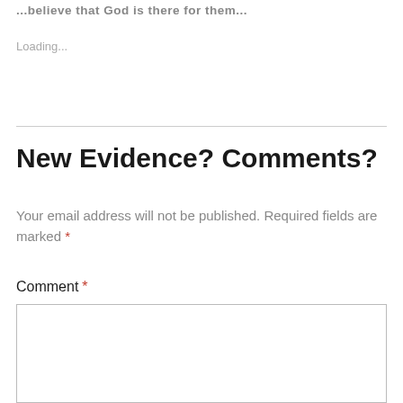...believe that God is there for them...
Loading...
New Evidence? Comments?
Your email address will not be published. Required fields are marked *
Comment *